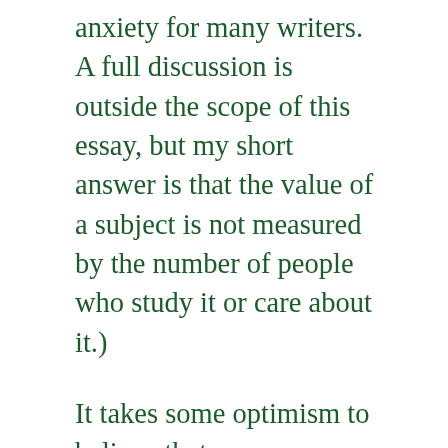anxiety for many writers. A full discussion is outside the scope of this essay, but my short answer is that the value of a subject is not measured by the number of people who study it or care about it.)
It takes some optimism to believe that someone might appreciate esoteric research, but it’s not an unreasonable hope.  Hoping for an audience of millions may be unrealistic for most scholars, but hoping for a small and enthusiastic audience is entirely within the realm of possibility. Who are people who might be interested in your work? If you’re having trouble imagining a positive audience, think about the authors of work that you like and